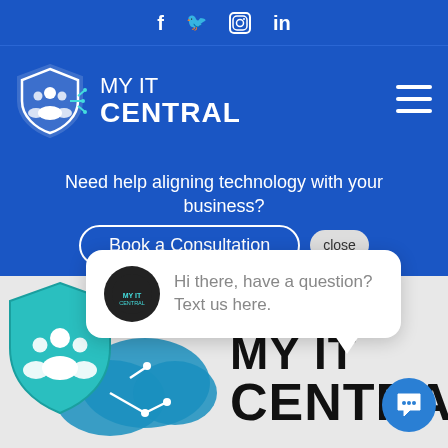f  Twitter  Instagram  in
[Figure (logo): My IT Central logo with shield icon and text MY IT CENTRAL in white on blue background, with hamburger menu icon]
Need help aligning technology with your business?
Book a Consultation
close
[Figure (screenshot): Chat popup bubble with avatar logo and text: Hi there, have a question? Text us here.]
[Figure (logo): MY IT CENTRAL large logo with teal shield and cloud icons on grey background with chat button]